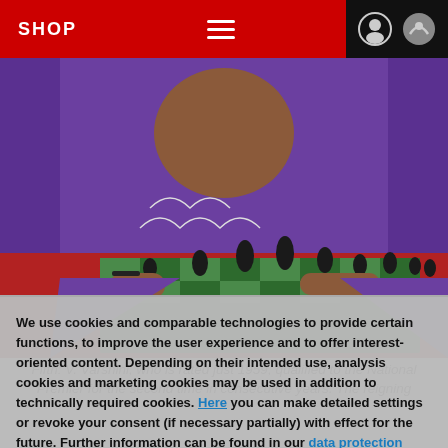SHOP
[Figure (photo): A chess player wearing a purple outfit leaning over a chess board with pieces arranged, viewed from above the board.]
Fifth: V. Varshini, who is rated just 1959, qualified to the National Premier for the second time in consecutive years. The reigning
We use cookies and comparable technologies to provide certain functions, to improve the user experience and to offer interest-oriented content. Depending on their intended use, analysis cookies and marketing cookies may be used in addition to technically required cookies. Here you can make detailed settings or revoke your consent (if necessary partially) with effect for the future. Further information can be found in our data protection declaration.